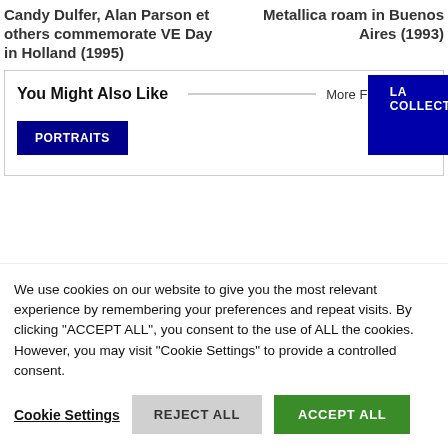Candy Dulfer, Alan Parson et others commemorate VE Day in Holland (1995)
Metallica roam in Buenos Aires (1993)
You Might Also Like
More From Author
PORTRAITS
LA COLLECTION
We use cookies on our website to give you the most relevant experience by remembering your preferences and repeat visits. By clicking "ACCEPT ALL", you consent to the use of ALL the cookies. However, you may visit "Cookie Settings" to provide a controlled consent.
Cookie Settings
REJECT ALL
ACCEPT ALL